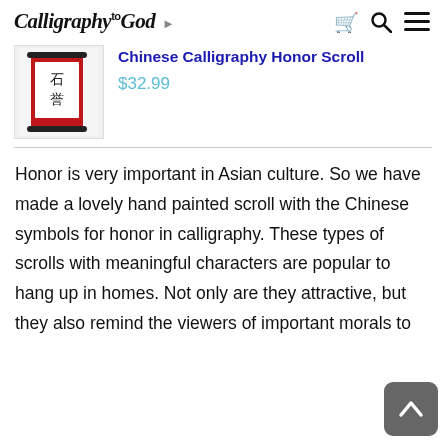Calligraphy to God — navigation with cart, search, menu icons
[Figure (photo): Product image of a red Chinese calligraphy honor scroll with black Chinese characters]
Chinese Calligraphy Honor Scroll
$32.99
Honor is very important in Asian culture. So we have made a lovely hand painted scroll with the Chinese symbols for honor in calligraphy. These types of scrolls with meaningful characters are popular to hang up in homes. Not only are they attractive, but they also remind the viewers of important morals to